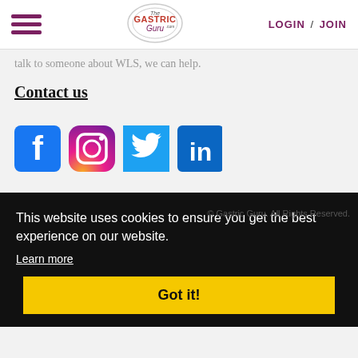The Gastric Guru — LOGIN / JOIN
talk to someone about WLS, we can help.
Contact us
[Figure (illustration): Social media icons: Facebook, Instagram, Twitter, LinkedIn]
This website uses cookies to ensure you get the best experience on our website. Learn more Got it!